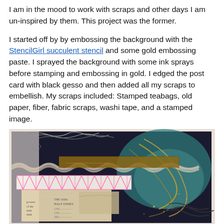I am in the mood to work with scraps and other days I am un-inspired by them. This project was the former.

I started off by by embossing the background with the StencilGirl succulent stencil and some gold embossing paste. I sprayed the background with some ink sprays before stamping and embossing in gold. I edged the post card with black gesso and then added all my scraps to embellish. My scraps included: Stamped teabags, old paper, fiber, fabric scraps, washi tape, and a stamped image.
[Figure (photo): A crafted postcard artwork featuring mixed media elements including stamped teabags, washi tape with pink geometric pattern, fiber/fabric scraps, old paper with vintage text, and various embellishments arranged on a dark background with gold and teal swirling patterns.]